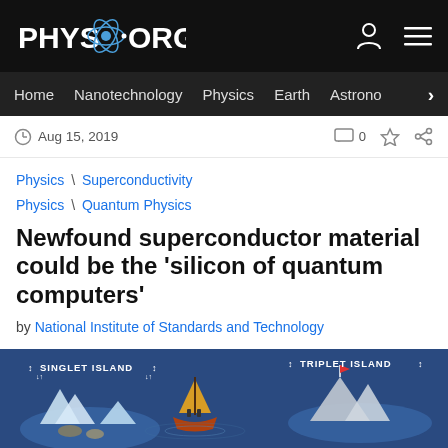PHYS.ORG
Home  Nanotechnology  Physics  Earth  Astronomy
Aug 15, 2019
Physics \ Superconductivity
Physics \ Quantum Physics
Newfound superconductor material could be the 'silicon of quantum computers'
by National Institute of Standards and Technology
[Figure (illustration): An illustration showing 'Singlet Island' with icebergs and 'Triplet Island' with a mountain, representing quantum physics concepts about superconductor states.]